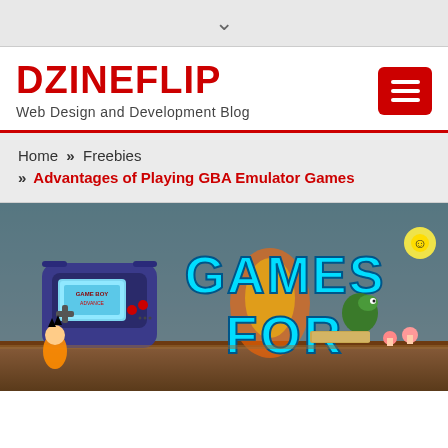▾
DZINEFLIP
Web Design and Development Blog
Home » Freebies
» Advantages of Playing GBA Emulator Games
[Figure (photo): Hero banner image showing a Game Boy Advance handheld console and video game characters with the text 'GAMES FOR' in cyan letters on a dark gaming background]